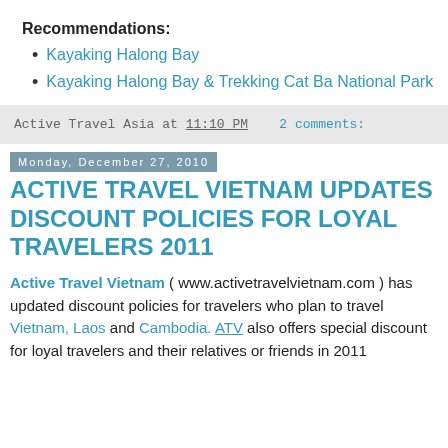Recommendations:
Kayaking Halong Bay
Kayaking Halong Bay & Trekking Cat Ba National Park
Active Travel Asia at 11:10 PM    2 comments:
Monday, December 27, 2010
ACTIVE TRAVEL VIETNAM UPDATES DISCOUNT POLICIES FOR LOYAL TRAVELERS 2011
Active Travel Vietnam ( www.activetravelvietnam.com ) has updated discount policies for travelers who plan to travel Vietnam, Laos and Cambodia. ATV also offers special discount for loyal travelers and their relatives or friends in 2011